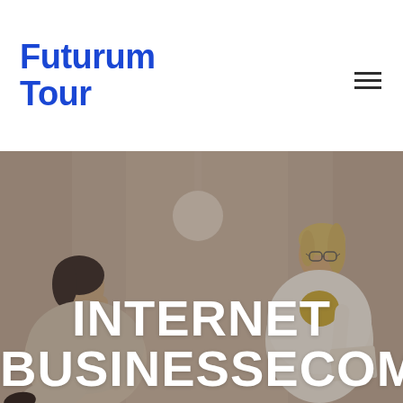Futurum Tour
[Figure (photo): Two women sitting in a modern interior setting. One woman on the left has dark hair and is resting her head on her hand. The other woman on the right has blonde hair and is wearing glasses, dressed in a white outfit. The background has beige/taupe curtains and a pendant lamp. A dark overlay covers the image. Large white bold text reading 'INTERNET BUSINESSECOMMERCE' is overlaid at the bottom of the image.]